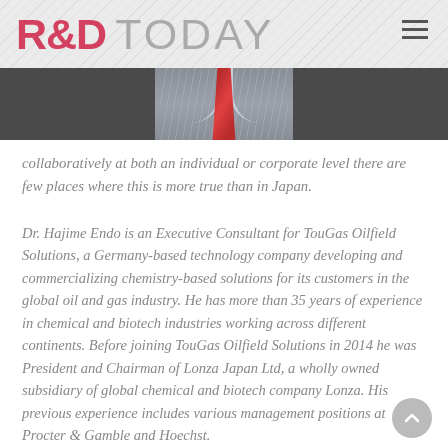R&D TODAY
[Figure (photo): Cropped photo of a man in a dark suit and red tie, showing chest/torso area only]
collaboratively at both an individual or corporate level there are few places where this is more true than in Japan.
Dr. Hajime Endo is an Executive Consultant for TouGas Oilfield Solutions, a Germany-based technology company developing and commercializing chemistry-based solutions for its customers in the global oil and gas industry. He has more than 35 years of experience in chemical and biotech industries working across different continents. Before joining TouGas Oilfield Solutions in 2014 he was President and Chairman of Lonza Japan Ltd, a wholly owned subsidiary of global chemical and biotech company Lonza. His previous experience includes various management positions at Procter & Gamble and Hoechst.